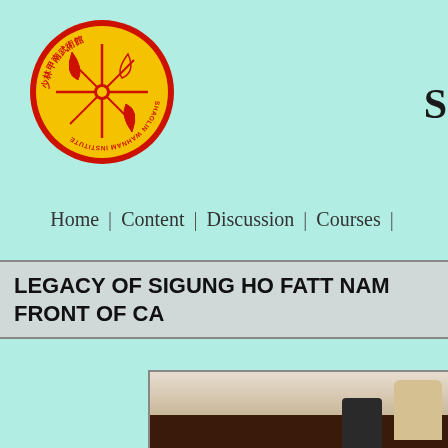[Figure (logo): Shaolin Wahnam Institute circular logo with yellow background, red border, Chinese characters and martial arts symbol in center, text 'SHAOLIN WAHNAM INSTITUTE' around the ring]
S
Home | Content | Discussion | Courses |
LEGACY OF SIGUNG HO FATT NAM
FRONT OF CA
[Figure (photo): Two people practicing martial arts inside a room with light-colored walls and dark wood paneling at the bottom]